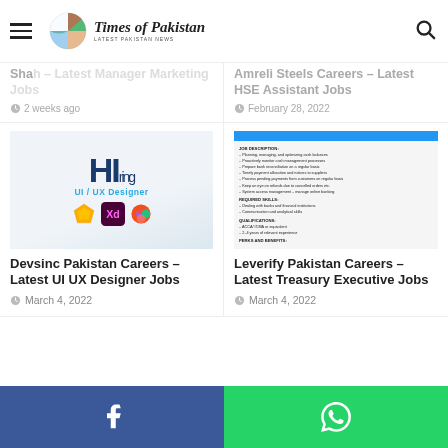Times of Pakistan – Latest Pakistan News
Shah – Latest Manager Marketing Jobs
2 weeks ago
Amreli Steels Careers – Latest HSE Assistant Jobs
February 28, 2022
[Figure (photo): Hiring UI/UX Designer graphic with design tool icons (Sketch, Adobe XD, Figma)]
Devsinc Pakistan Careers – Latest UI UX Designer Jobs
March 4, 2022
[Figure (screenshot): Job description document for Treasury Executive role at Leverify Pakistan showing job description, required skills, qualifications, perks and benefits]
Leverify Pakistan Careers – Latest Treasury Executive Jobs
March 4, 2022